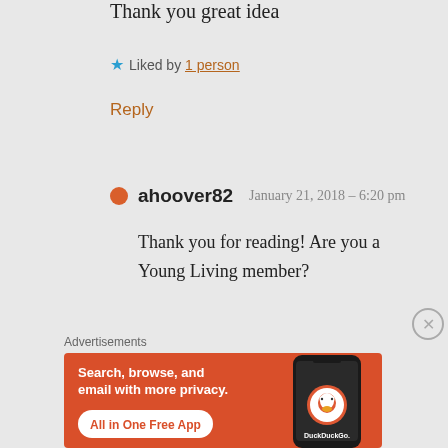Thank you great idea
★ Liked by 1 person
Reply
ahoover82  January 21, 2018 – 6:20 pm
Thank you for reading! Are you a Young Living member?
Advertisements
[Figure (other): DuckDuckGo advertisement banner: orange background with text 'Search, browse, and email with more privacy. All in One Free App' and an image of a phone with DuckDuckGo logo]